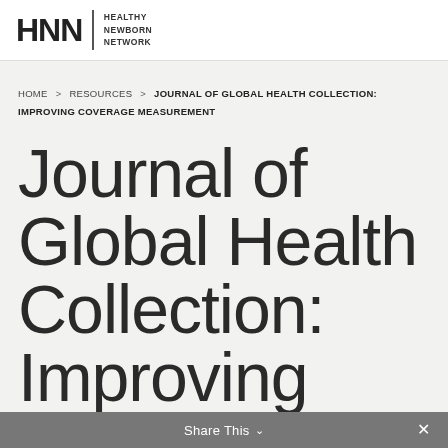HNN | HEALTHY NEWBORN NETWORK
HOME > RESOURCES > JOURNAL OF GLOBAL HEALTH COLLECTION: IMPROVING COVERAGE MEASUREMENT
Journal of Global Health Collection: Improving Coverage Measurement
Share This